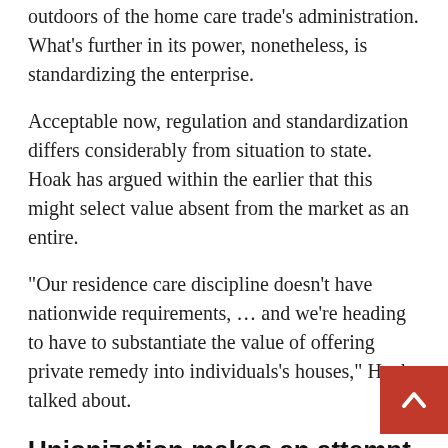outdoors of the home care trade's administration. What's further in its power, nonetheless, is standardizing the enterprise.
Acceptable now, regulation and standardization differs considerably from situation to state. Hoak has argued within the earlier that this might select value absent from the market as an entire.
“Our residence care discipline doesn’t have nationwide requirements, … and we’re heading to have to substantiate the value of offering private remedy into individuals’s houses,” Hoak talked about.
Unionization makes an attempt
California might be to make it rather a lot simp… for residence remedy workers to unionize within…